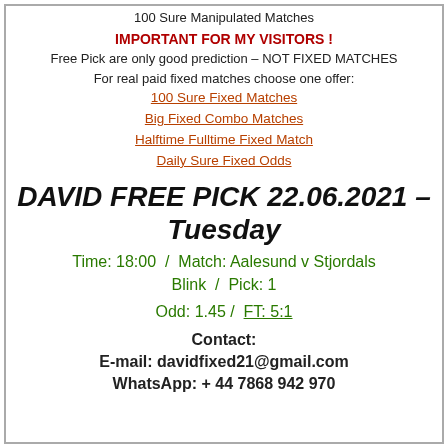100 Sure Manipulated Matches
IMPORTANT FOR MY VISITORS !
Free Pick are only good prediction – NOT FIXED MATCHES
For real paid fixed matches choose one offer:
100 Sure Fixed Matches
Big Fixed Combo Matches
Halftime Fulltime Fixed Match
Daily Sure Fixed Odds
DAVID FREE PICK 22.06.2021 – Tuesday
Time: 18:00  /  Match: Aalesund v Stjordals Blink  /  Pick: 1
Odd: 1.45  /  FT: 5:1
Contact:
E-mail: davidfixed21@gmail.com
WhatsApp: + 44 7868 942 970